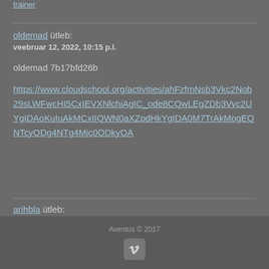trainer
oldemad ütleb:
veebruar 12, 2022, 10:15 p.l.

oldemad 7b17bfd26b

https://www.cloudschool.org/activities/ahFzfmNsb3Vkc2Nob29sLWFwcHI5CxIEVXNlchiAgIC_ode8CQwLEgZDb3Vyc2UYgIDAoKuIuAkMCxIIQWN0aXZpdHkYgIDA0M7TrAkMogEQNTcyODg4NTg4Mjc0ODkyOA
arihbla ütleb:
Aventus © 2017